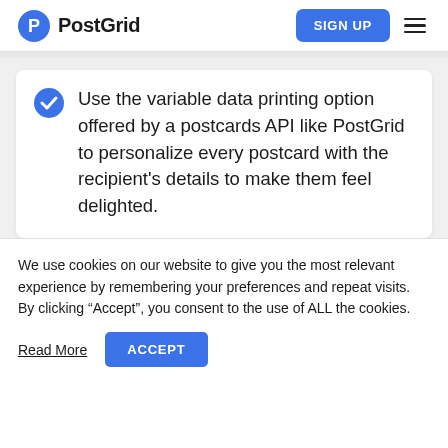PostGrid | SIGN UP
Use the variable data printing option offered by a postcards API like PostGrid to personalize every postcard with the recipient's details to make them feel delighted.
We use cookies on our website to give you the most relevant experience by remembering your preferences and repeat visits. By clicking “Accept”, you consent to the use of ALL the cookies.
Read More | ACCEPT